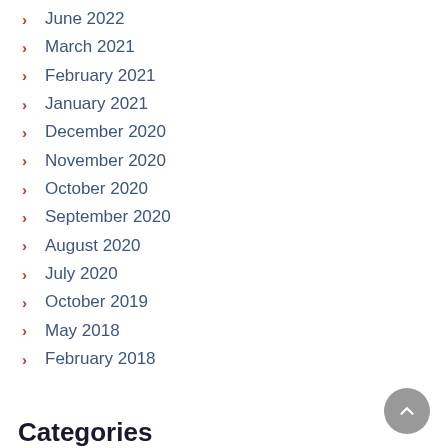June 2022
March 2021
February 2021
January 2021
December 2020
November 2020
October 2020
September 2020
August 2020
July 2020
October 2019
May 2018
February 2018
Categories